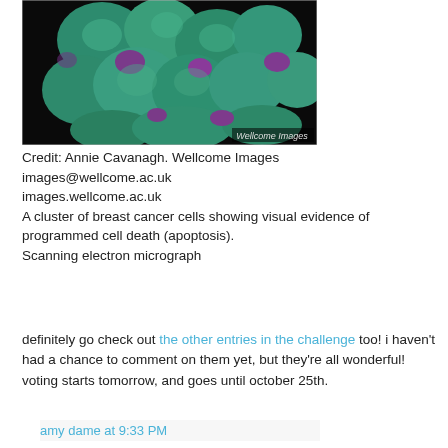[Figure (photo): Scanning electron micrograph of a cluster of breast cancer cells showing visual evidence of programmed cell death (apoptosis). Cells appear in teal/green with purple structures. Credit: Wellcome Images watermark in bottom right corner.]
Credit: Annie Cavanagh. Wellcome Images
images@wellcome.ac.uk
images.wellcome.ac.uk
A cluster of breast cancer cells showing visual evidence of programmed cell death (apoptosis).
Scanning electron micrograph
definitely go check out the other entries in the challenge too! i haven't had a chance to comment on them yet, but they're all wonderful! voting starts tomorrow, and goes until october 25th.
amy dame at 9:33 PM